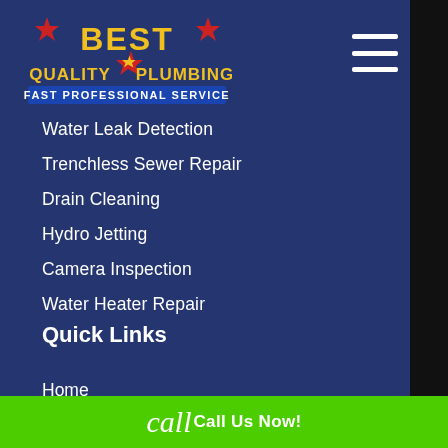[Figure (logo): Best Quality Plumbing logo with stars and 'Fast Professional Service' tagline on blue background]
Water Leak Detection
Trenchless Sewer Repair
Drain Cleaning
Hydro Jetting
Camera Inspection
Water Heater Repair
Quick Links
Home
About Us
Call Us Now!